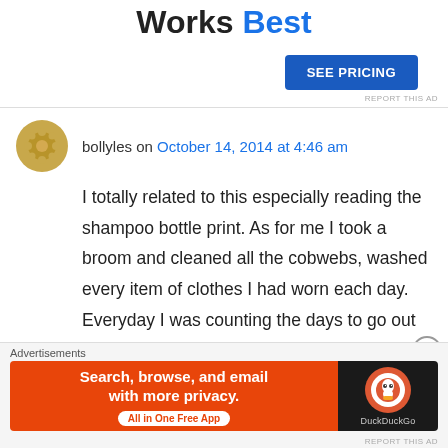Works Best
[Figure (other): SEE PRICING button (blue rectangle)]
REPORT THIS AD
bollyles on October 14, 2014 at 4:46 am
I totally related to this especially reading the shampoo bottle print. As for me I took a broom and cleaned all the cobwebs, washed every item of clothes I had worn each day. Everyday I was counting the days to go out but then when it actually comes to the 10th day I did feel like my brain had been sprayed with air freshener and I
Advertisements
[Figure (screenshot): DuckDuckGo advertisement banner: orange left section with text 'Search, browse, and email with more privacy. All in One Free App'; dark right section with DuckDuckGo logo and brand name.]